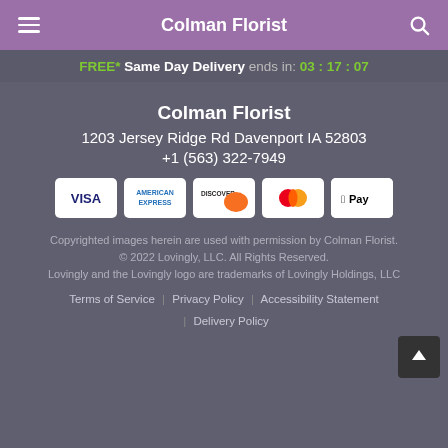Colman Florist
FREE* Same Day Delivery ends in: 03 : 17 : 07
Colman Florist
1203 Jersey Ridge Rd Davenport IA 52803
+1 (563) 322-7949
[Figure (other): Payment method icons: Visa, American Express, Discover, Mastercard, Apple Pay]
Copyrighted images herein are used with permission by Colman Florist.
© 2022 Lovingly, LLC. All Rights Reserved.
Lovingly and the Lovingly logo are trademarks of Lovingly Holdings, LLC
Terms of Service  |  Privacy Policy  |  Accessibility Statement  |  Delivery Policy